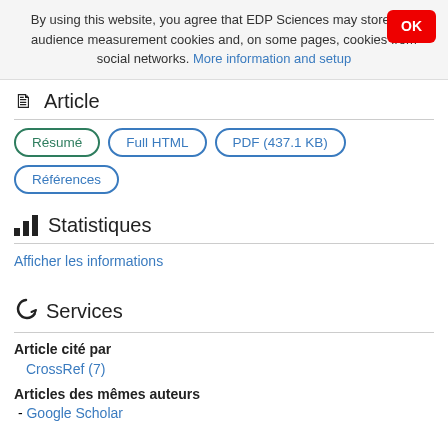By using this website, you agree that EDP Sciences may store web audience measurement cookies and, on some pages, cookies from social networks. More information and setup
Article
Résumé
Full HTML
PDF (437.1 KB)
Références
Statistiques
Afficher les informations
Services
Article cité par
CrossRef (7)
Articles des mêmes auteurs
- Google Scholar